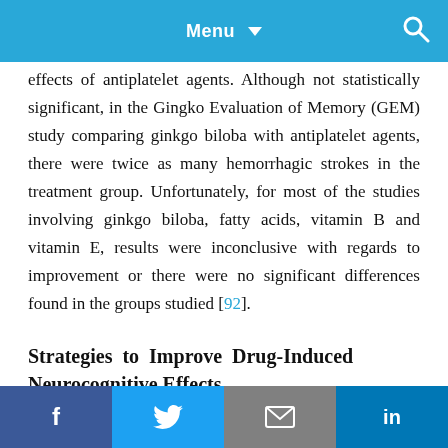Menu
effects of antiplatelet agents. Although not statistically significant, in the Gingko Evaluation of Memory (GEM) study comparing ginkgo biloba with antiplatelet agents, there were twice as many hemorrhagic strokes in the treatment group. Unfortunately, for most of the studies involving ginkgo biloba, fatty acids, vitamin B and vitamin E, results were inconclusive with regards to improvement or there were no significant differences found in the groups studied [92].
Strategies to Improve Drug-Induced Neurocognitive Effects
f  twitter  mail  in